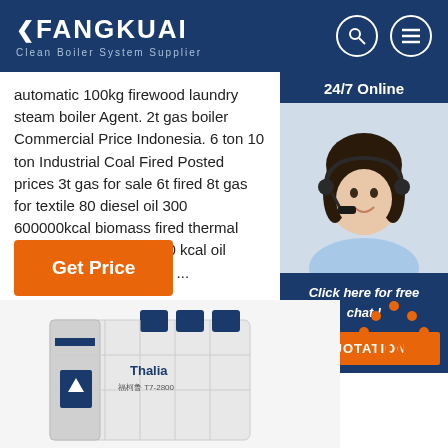FANGKUAI Clean Boiler System Supplier
automatic 100kg firewood laundry steam boiler Agent. 2t gas boiler Commercial Price Indonesia. 6 ton 10 ton Industrial Coal Fired Posted prices 3t gas for sale 6t fired 8t gas for textile 80 diesel oil 300 600000kcal biomass fired thermal natural gas fired 600000 kcal oil Natural gas fire gas Get ...
[Figure (photo): Customer service agent woman wearing headset, smiling, with '24/7 Online' banner and chat/quotation panel]
Get Price
Click here for free chat !
QUOTATION
[Figure (photo): Thalia 福柯鲁 T7-2800 industrial boiler product image, white and blue unit]
[Figure (other): TOP navigation button with orange dots above]